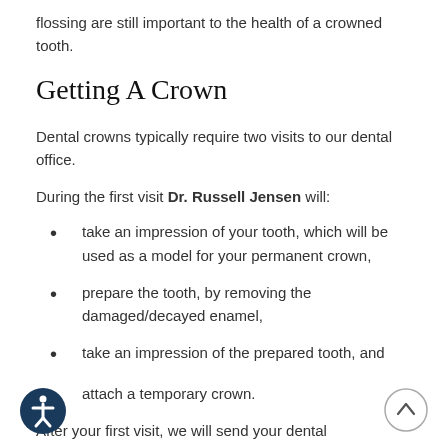flossing are still important to the health of a crowned tooth.
Getting A Crown
Dental crowns typically require two visits to our dental office.
During the first visit Dr. Russell Jensen will:
take an impression of your tooth, which will be used as a model for your permanent crown,
prepare the tooth, by removing the damaged/decayed enamel,
take an impression of the prepared tooth, and
attach a temporary crown.
After your first visit, we will send your dental